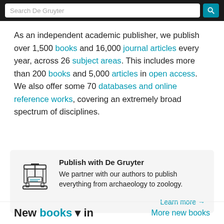Search De Gruyter
As an independent academic publisher, we publish over 1,500 books and 16,000 journal articles every year, across 26 subject areas. This includes more than 200 books and 5,000 articles in open access. We also offer some 70 databases and online reference works, covering an extremely broad spectrum of disciplines.
[Figure (illustration): Icon of a printing press or book press machine]
Publish with De Gruyter
We partner with our authors to publish everything from archaeology to zoology.
Learn more →
New books ▾ in
More new books